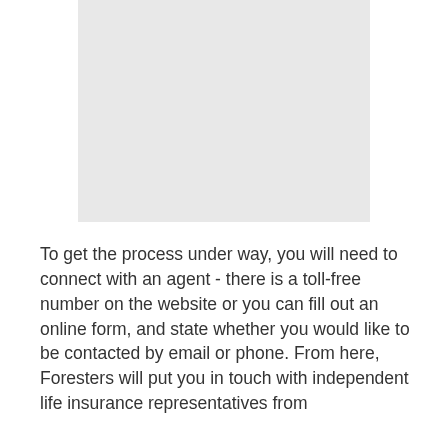[Figure (other): A light gray rectangular image placeholder]
To get the process under way, you will need to connect with an agent - there is a toll-free number on the website or you can fill out an online form, and state whether you would like to be contacted by email or phone. From here, Foresters will put you in touch with independent life insurance representatives from